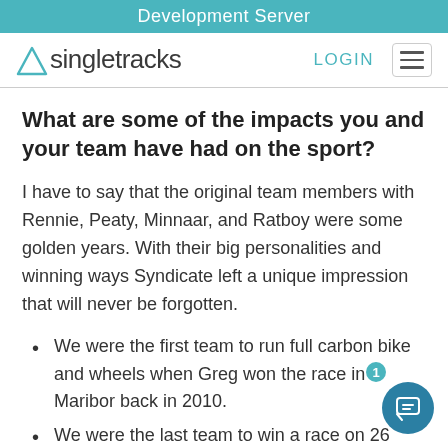Development Server
[Figure (logo): Singletracks logo with triangle icon, LOGIN button, and hamburger menu]
What are some of the impacts you and your team have had on the sport?
I have to say that the original team members with Rennie, Peaty, Minnaar, and Ratboy were some golden years. With their big personalities and winning ways Syndicate left a unique impression that will never be forgotten.
We were the first team to run full carbon bike and wheels when Greg won the race in Maribor back in 2010.
We were the last team to win a race on 26 wheels with Ratboy winning in Monte Sainte